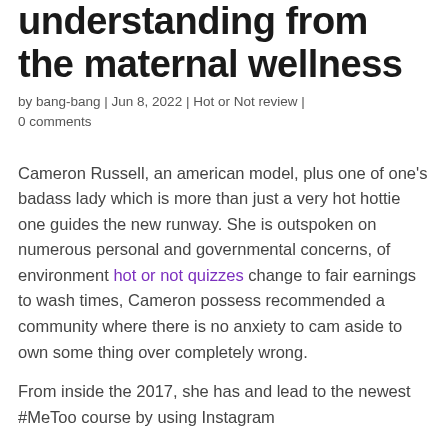understanding from the maternal wellness
by bang-bang | Jun 8, 2022 | Hot or Not review | 0 comments
Cameron Russell, an american model, plus one of one's badass lady which is more than just a very hot hottie one guides the new runway. She is outspoken on numerous personal and governmental concerns, of environment hot or not quizzes change to fair earnings to wash times, Cameron possess recommended a community where there is no anxiety to cam aside to own some thing over completely wrong.
From inside the 2017, she has and lead to the newest #MeToo course by using Instagram